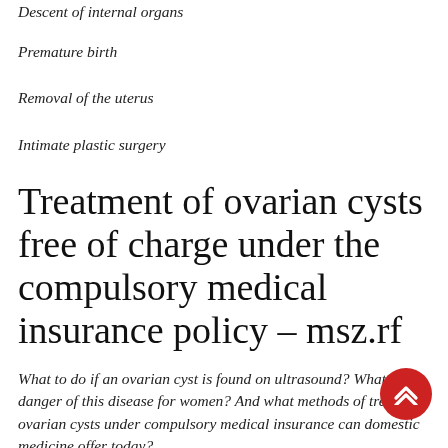Descent of internal organs
Premature birth
Removal of the uterus
Intimate plastic surgery
Treatment of ovarian cysts free of charge under the compulsory medical insurance policy – msz.rf
What to do if an ovarian cyst is found on ultrasound? What is the danger of this disease for women? And what methods of treating ovarian cysts under compulsory medical insurance can domestic medicine offer today?